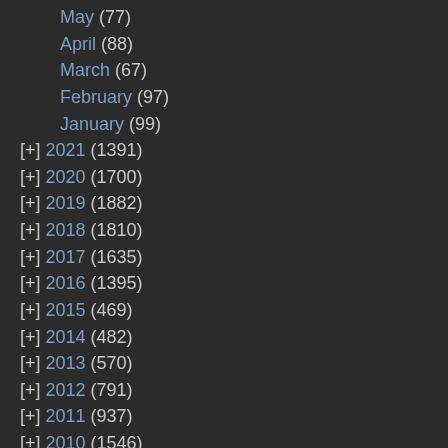May (77)
April (88)
March (67)
February (97)
January (99)
[+] 2021 (1391)
[+] 2020 (1700)
[+] 2019 (1882)
[+] 2018 (1810)
[+] 2017 (1635)
[+] 2016 (1395)
[+] 2015 (469)
[+] 2014 (482)
[+] 2013 (570)
[+] 2012 (791)
[+] 2011 (937)
[+] 2010 (1546)
[+] 2009 (1483)